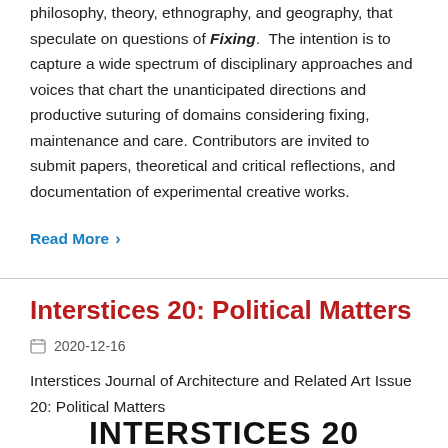philosophy, theory, ethnography, and geography, that speculate on questions of Fixing. The intention is to capture a wide spectrum of disciplinary approaches and voices that chart the unanticipated directions and productive suturing of domains considering fixing, maintenance and care. Contributors are invited to submit papers, theoretical and critical reflections, and documentation of experimental creative works.
Read More ›
Interstices 20: Political Matters
2020-12-16
Interstices Journal of Architecture and Related Art Issue 20: Political Matters
INTERSTICES 20